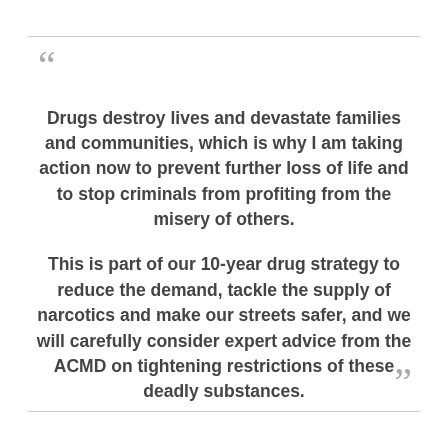Drugs destroy lives and devastate families and communities, which is why I am taking action now to prevent further loss of life and to stop criminals from profiting from the misery of others.

This is part of our 10-year drug strategy to reduce the demand, tackle the supply of narcotics and make our streets safer, and we will carefully consider expert advice from the ACMD on tightening restrictions of these deadly substances.